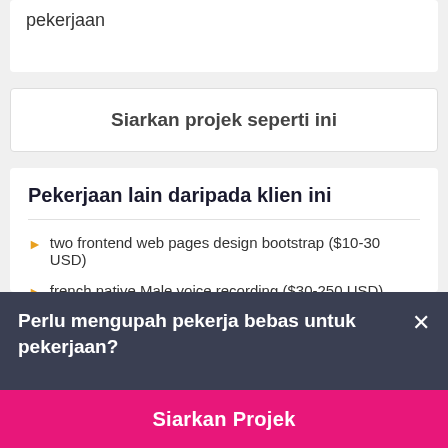pekerjaan
Siarkan projek seperti ini
Pekerjaan lain daripada klien ini
two frontend web pages design bootstrap ($10-30 USD)
french native Male voice recording ($30-250 USD)
Perlu mengupah pekerja bebas untuk pekerjaan?
Siarkan Projek